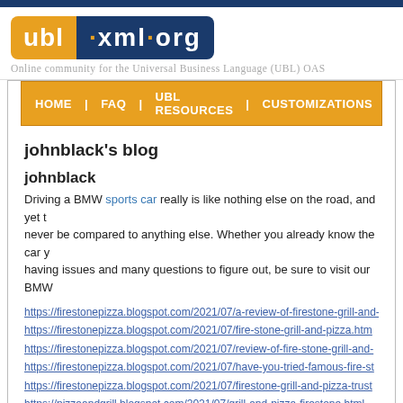[Figure (logo): ubl·xml·org logo with orange UBL badge and dark blue xml·org badge]
Online community for the Universal Business Language (UBL) OAS
HOME | FAQ | UBL RESOURCES | CUSTOMIZATIONS | NEWS | EVENTS |
johnblack's blog
johnblack
Driving a BMW sports car really is like nothing else on the road, and yet t never be compared to anything else. Whether you already know the car y having issues and many questions to figure out, be sure to visit our BMW
https://firestonepizza.blogspot.com/2021/07/a-review-of-firestone-grill-and-
https://firestonepizza.blogspot.com/2021/07/fire-stone-grill-and-pizza.htm
https://firestonepizza.blogspot.com/2021/07/review-of-fire-stone-grill-and-
https://firestonepizza.blogspot.com/2021/07/have-you-tried-famous-fire-st
https://firestonepizza.blogspot.com/2021/07/firestone-grill-and-pizza-trust
https://pizzaandgrill.blogspot.com/2021/07/grill-and-pizza-firestone.html
https://pizzaandgrill.blogspot.com/2021/07/grill-and-pizza-firestone-review
https://boatblogs.blogspot.com/2021/07/where-toys-are-made.html